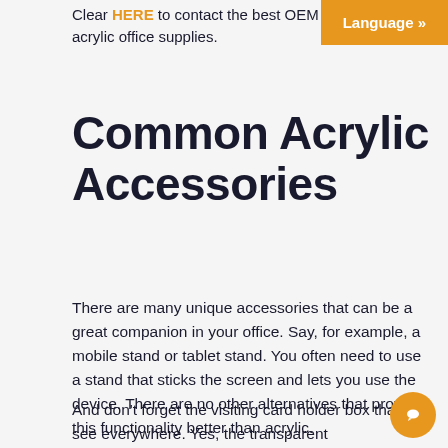Clear HERE to contact the best OEM acrylic office supplies.
[Figure (other): Orange 'Language »' button in top-right corner]
Common Acrylic Accessories
There are many unique accessories that can be a great companion in your office. Say, for example, a mobile stand or tablet stand. You often need to use a stand that sticks the screen and lets you use the device. There are no other alternatives that provide this functionality better than acrylic.
And don't forget the visiting card holder box that you see everywhere. Yes, the transparent
[Figure (other): Orange circular chat/messenger button in bottom-right corner]